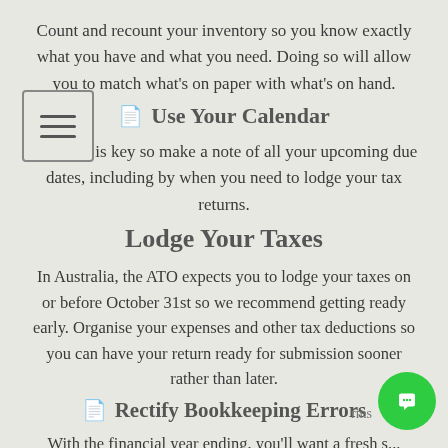Count and recount your inventory so you know exactly what you have and what you need. Doing so will allow you to match what's on paper with what's on hand.
Use Your Calendar
Planning is key so make a note of all your upcoming due dates, including by when you need to lodge your tax returns.
Lodge Your Taxes
In Australia, the ATO expects you to lodge your taxes on or before October 31st so we recommend getting ready early. Organise your expenses and other tax deductions so you can have your return ready for submission sooner rather than later.
Rectify Bookkeeping Errors
With the financial year ending, you'll want a fresh s...